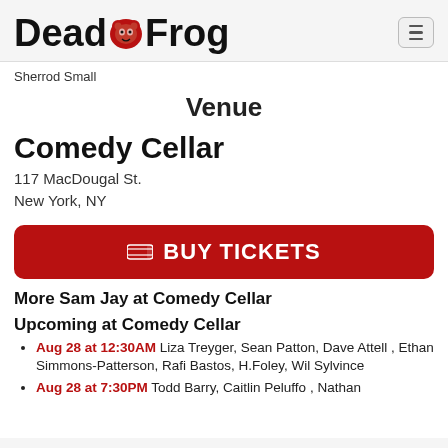Dead Frog [logo]
Sherrod Small
Venue
Comedy Cellar
117 MacDougal St.
New York, NY
BUY TICKETS
More Sam Jay at Comedy Cellar
Upcoming at Comedy Cellar
Aug 28 at 12:30AM Liza Treyger, Sean Patton, Dave Attell , Ethan Simmons-Patterson, Rafi Bastos, H.Foley, Wil Sylvince
Aug 28 at 7:30PM Todd Barry, Caitlin Peluffo , Nathan